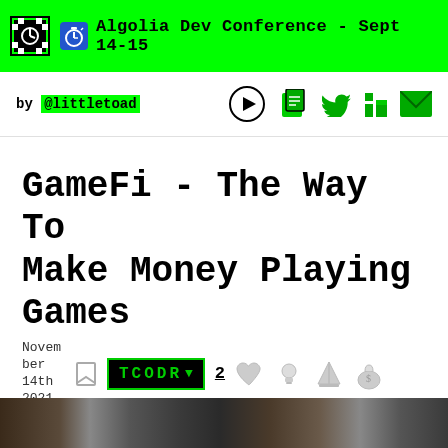Algolia Dev Conference - Sept 14-15
by @littletoad
GameFi - The Way To Make Money Playing Games
November 14th 2021
[Figure (logo): TCODR badge/logo in green on black background]
2
[Figure (illustration): Bottom partial image strip showing people or scene]